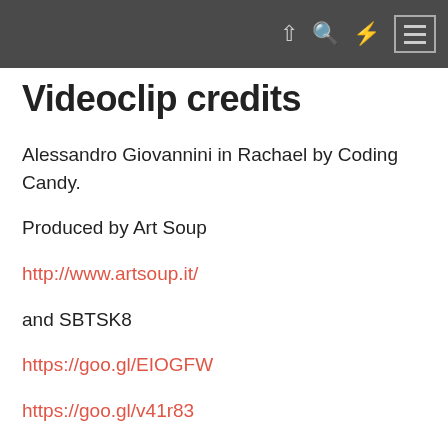Videoclip credits
Videoclip credits
Alessandro Giovannini in Rachael by Coding Candy.
Produced by Art Soup
http://www.artsoup.it/
and SBTSK8
https://goo.gl/EIOGFW
https://goo.gl/v41r83